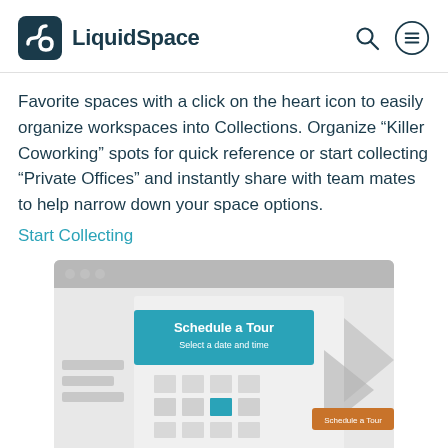LiquidSpace
Favorite spaces with a click on the heart icon to easily organize workspaces into Collections. Organize “Killer Coworking” spots for quick reference or start collecting “Private Offices” and instantly share with team mates to help narrow down your space options.
Start Collecting
[Figure (screenshot): UI illustration showing a browser window with a 'Schedule a Tour' teal dialog box, a calendar grid with one teal highlighted date, and an orange 'Schedule a Tour' button on the right side.]